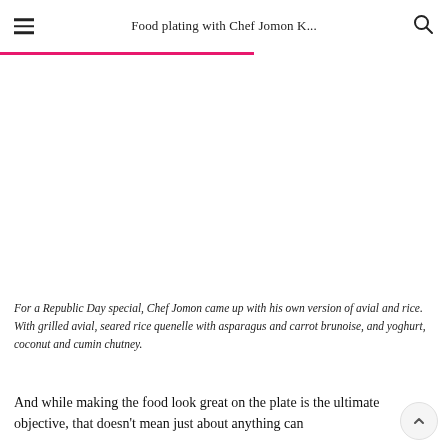Food plating with Chef Jomon K...
[Figure (photo): Empty white image area below a pink progress/accent bar, representing a food photo placeholder]
For a Republic Day special, Chef Jomon came up with his own version of avial and rice. With grilled avial, seared rice quenelle with asparagus and carrot brunoise, and yoghurt, coconut and cumin chutney.
And while making the food look great on the plate is the ultimate objective, that doesn't mean just about anything can